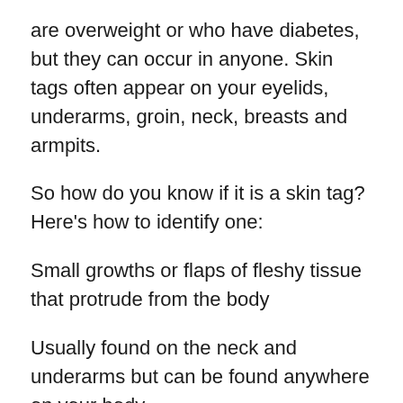are overweight or who have diabetes, but they can occur in anyone. Skin tags often appear on your eyelids, underarms, groin, neck, breasts and armpits.
So how do you know if it is a skin tag? Here's how to identify one:
Small growths or flaps of fleshy tissue that protrude from the body
Usually found on the neck and underarms but can be found anywhere on your body
Skin tags can be removed without any pain or complications – they are completely benign!